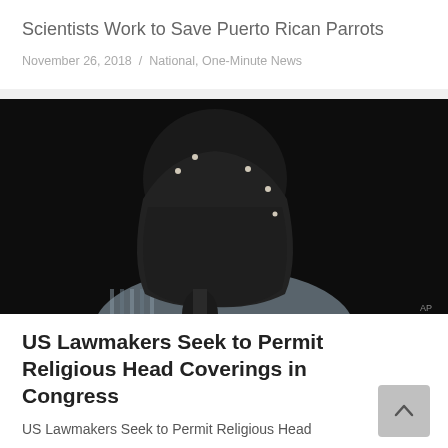Scientists Work to Save Puerto Rican Parrots
November 26, 2018 / National, One-Minute News
[Figure (photo): A smiling woman wearing a black head covering and earrings, speaking at a microphone against a dark background.]
US Lawmakers Seek to Permit Religious Head Coverings in Congress
US Lawmakers Seek to Permit Religious Head